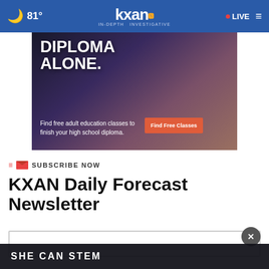81° KXAN IN-DEPTH INVESTIGATIVE • LIVE
[Figure (photo): Advertisement banner showing a person with text 'DIPLOMA ALONE. Find free adult education classes to finish your high school diploma.' with a red 'Find Free Classes' button.]
SUBSCRIBE NOW
KXAN Daily Forecast Newsletter
[Figure (screenshot): Email input field for newsletter subscription with a close (X) button overlay.]
SHE CAN STEM